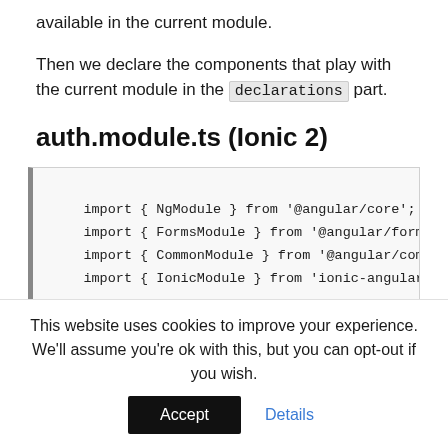available in the current module.
Then we declare the components that play with the current module in the declarations part.
auth.module.ts (Ionic 2)
import { NgModule } from '@angular/core';
import { FormsModule } from '@angular/forms';
import { CommonModule } from '@angular/common';
import { IonicModule } from 'ionic-angular';

import { LoginComponent, SignupComponent } from '.
This website uses cookies to improve your experience. We'll assume you're ok with this, but you can opt-out if you wish.
Accept   Details